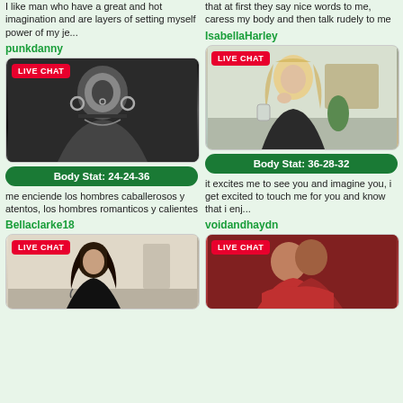I like man who have a great and hot imagination and are layers of setting myself power of my je...
that at first they say nice words to me, caress my body and then talk rudely to me
punkdanny
IsabellaHarley
[Figure (photo): Black and white photo of a woman with hoop earrings, nose ring, choker necklace and tattoos. LIVE CHAT badge overlay.]
[Figure (photo): Color photo of a blonde woman in dark lingerie holding a cup, thinking pose. LIVE CHAT badge overlay.]
Body Stat: 24-24-36
Body Stat: 36-28-32
me enciende los hombres caballerosos y atentos, los hombres romanticos y calientes
it excites me to see you and imagine you, i get excited to touch me for you and know that i enj...
Bellaclarke18
voidandhaydn
[Figure (photo): Color photo of a dark-haired woman in black lingerie in a kitchen. LIVE CHAT badge overlay.]
[Figure (photo): Color photo of a couple kissing intimately, woman in red top. LIVE CHAT badge overlay.]